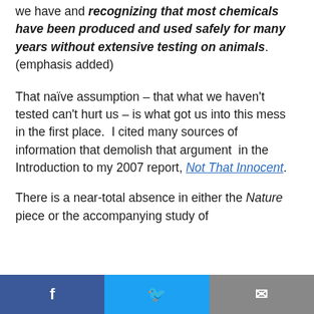we have and recognizing that most chemicals have been produced and used safely for many years without extensive testing on animals.  (emphasis added)
That naïve assumption – that what we haven't tested can't hurt us – is what got us into this mess in the first place.  I cited many sources of information that demolish that argument  in the Introduction to my 2007 report, Not That Innocent.
There is a near-total absence in either the Nature piece or the accompanying study of
Facebook  Twitter  Email